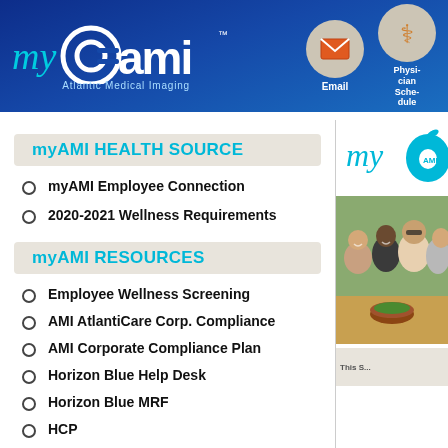[Figure (logo): myAMI (My Atlantic Medical Imaging) logo on dark blue header background with email and physician schedule icons]
myAMI HEALTH SOURCE
myAMI Employee Connection
2020-2021 Wellness Requirements
myAMI RESOURCES
Employee Wellness Screening
AMI AtlantiCare Corp. Compliance
AMI Corporate Compliance Plan
Horizon Blue Help Desk
Horizon Blue MRF
HCP
2022 Payroll Schedule
Paycom
[Figure (photo): Group of young women smiling and laughing outdoors, with food on table — myAMI employee wellness photo]